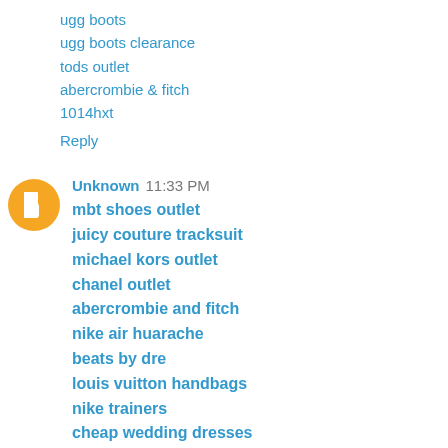ugg boots
ugg boots clearance
tods outlet
abercrombie & fitch
1014hxt
Reply
[Figure (illustration): Blogger user avatar: orange circle with white B letter icon]
Unknown  11:33 PM
mbt shoes outlet
juicy couture tracksuit
michael kors outlet
chanel outlet
abercrombie and fitch
nike air huarache
beats by dre
louis vuitton handbags
nike trainers
cheap wedding dresses
green bay packers
coach outlet online
coach outlet store